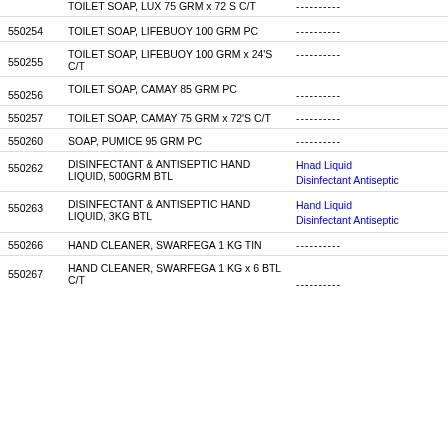TOILET SOAP, LUX 75 GRM x 72 S C/T ----------
550254 TOILET SOAP, LIFEBUOY 100 GRM PC ----------
550255 TOILET SOAP, LIFEBUOY 100 GRM x 24'S C/T ----------
550256 TOILET SOAP, CAMAY 85 GRM PC ----------
550257 TOILET SOAP, CAMAY 75 GRM x 72'S C/T ----------
550260 SOAP, PUMICE 95 GRM PC ----------
550262 DISINFECTANT & ANTISEPTIC HAND LIQUID, 500GRM BTL Hnad Liquid Disinfectant Antiseptic
550263 DISINFECTANT & ANTISEPTIC HAND LIQUID, 3KG BTL Hand Liquid Disinfectant Antiseptic
550266 HAND CLEANER, SWARFEGA 1 KG TIN ----------
550267 HAND CLEANER, SWARFEGA 1 KG x 6 BTL C/T ----------